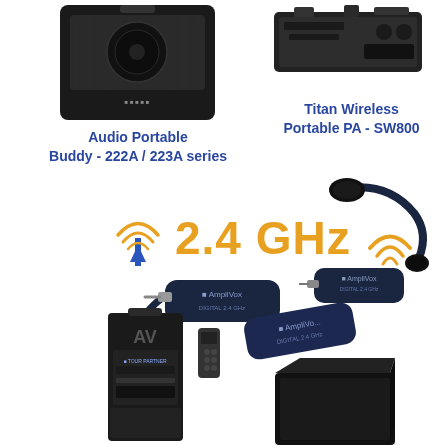[Figure (photo): Photo of a portable PA speaker system - Audio Portable Buddy 222A/223A series, black box speaker]
Audio Portable Buddy - 222A / 223A series
[Figure (photo): Photo of Titan Wireless Portable PA - SW800, black rectangular device]
Titan Wireless Portable PA - SW800
[Figure (infographic): 2.4 GHz wireless signal icon with broadcast tower and WiFi symbol in orange/gold color, with text 2.4 GHz in bold orange]
[Figure (photo): AmpliVox digital 2.4 GHz wireless microphone transmitter with lapel/lavalier microphone attached, dark navy color]
[Figure (photo): AmpliVox digital 2.4 GHz wireless headset microphone with flexible boom, dark navy receiver]
[Figure (photo): Portable PA speaker system with AV logo and Tour Partner labeling, black tower speaker with remote control]
[Figure (photo): Black rectangular wireless receiver/transmitter device, partial view at bottom right]